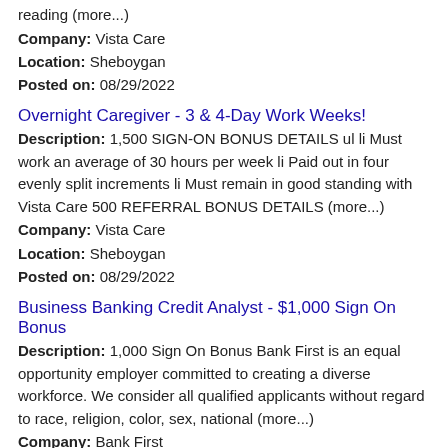reading (more...)
Company: Vista Care
Location: Sheboygan
Posted on: 08/29/2022
Overnight Caregiver - 3 & 4-Day Work Weeks!
Description: 1,500 SIGN-ON BONUS DETAILS ul li Must work an average of 30 hours per week li Paid out in four evenly split increments li Must remain in good standing with Vista Care 500 REFERRAL BONUS DETAILS (more...)
Company: Vista Care
Location: Sheboygan
Posted on: 08/29/2022
Business Banking Credit Analyst - $1,000 Sign On Bonus
Description: 1,000 Sign On Bonus Bank First is an equal opportunity employer committed to creating a diverse workforce. We consider all qualified applicants without regard to race, religion, color, sex, national (more...)
Company: Bank First
Location: Sheboygan
Posted on: 08/29/2022